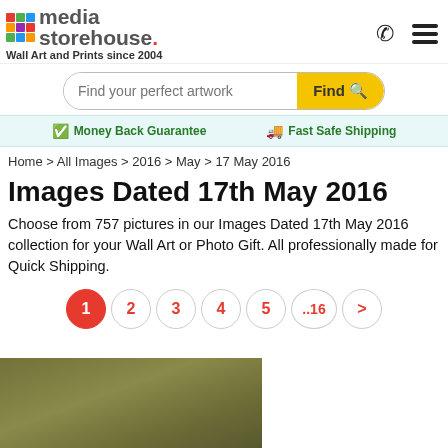[Figure (logo): Media Storehouse logo with colorful grid squares]
Wall Art and Prints since 2004
Find your perfect artwork [Find button]
Money Back Guarantee   Fast Safe Shipping
Home > All Images > 2016 > May > 17 May 2016
Images Dated 17th May 2016
Choose from 757 pictures in our Images Dated 17th May 2016 collection for your Wall Art or Photo Gift. All professionally made for Quick Shipping.
1  2  3  4  5  ..16  >
[Figure (photo): Partial view of a photo with olive/khaki toned background, bottom left of page]